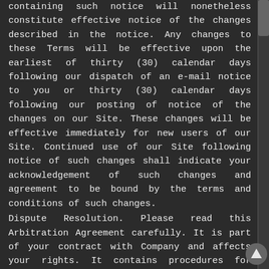containing such notice will nonetheless constitute effective notice of the changes described in the notice. Any changes to these Terms will be effective upon the earliest of thirty (30) calendar days following our dispatch of an e-mail notice to you or thirty (30) calendar days following our posting of notice of the changes on our Site. These changes will be effective immediately for new users of our Site. Continued use of our Site following notice of such changes shall indicate your acknowledgement of such changes and agreement to be bound by the terms and conditions of such changes.
Dispute Resolution. Please read this Arbitration Agreement carefully. It is part of your contract with Company and affects your rights. It contains procedures for MANDATORY BINDING ARBITRATION AND A CLASS ACTION WAIVER.
Applicability of Arbitration Agreement. All claims and disputes in connection with the Terms or the use of any